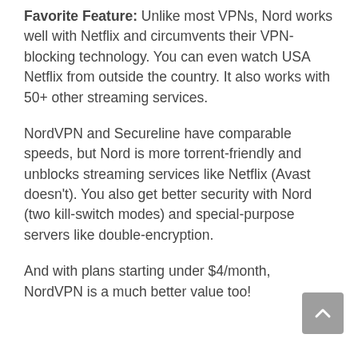Favorite Feature: Unlike most VPNs, Nord works well with Netflix and circumvents their VPN-blocking technology. You can even watch USA Netflix from outside the country. It also works with 50+ other streaming services.
NordVPN and Secureline have comparable speeds, but Nord is more torrent-friendly and unblocks streaming services like Netflix (Avast doesn't). You also get better security with Nord (two kill-switch modes) and special-purpose servers like double-encryption.
And with plans starting under $4/month, NordVPN is a much better value too!